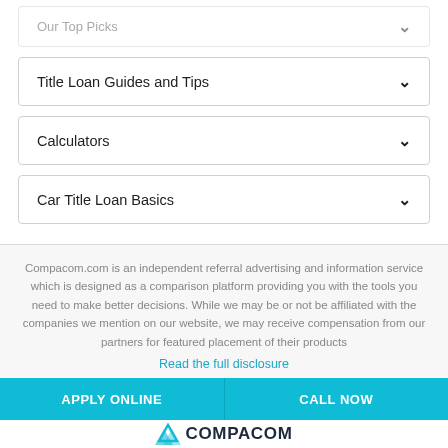Title Loan Guides and Tips
Calculators
Car Title Loan Basics
Compacom.com is an independent referral advertising and information service which is designed as a comparison platform providing you with the tools you need to make better decisions. While we may be or not be affiliated with the companies we mention on our website, we may receive compensation from our partners for featured placement of their products
Read the full disclosure
APPLY ONLINE   CALL NOW